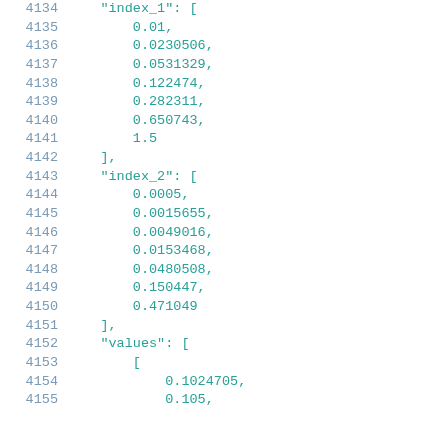4134    "index_1": [
4135        0.01,
4136        0.0230506,
4137        0.0531329,
4138        0.122474,
4139        0.282311,
4140        0.650743,
4141        1.5
4142    ],
4143    "index_2": [
4144        0.0005,
4145        0.0015655,
4146        0.0049016,
4147        0.0153468,
4148        0.0480508,
4149        0.150447,
4150        0.471049
4151    ],
4152    "values": [
4153        [
4154            0.1024705,
4155            0.105,